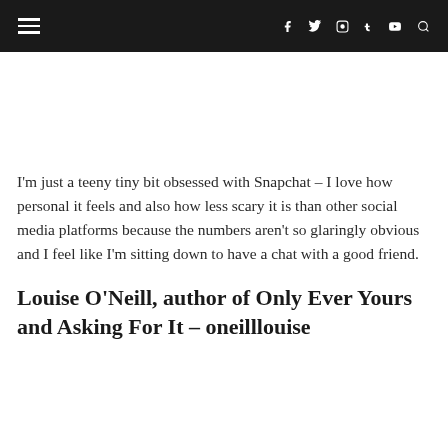☰  f  🐦  📷  t  ▶  🔍
I'm just a teeny tiny bit obsessed with Snapchat – I love how personal it feels and also how less scary it is than other social media platforms because the numbers aren't so glaringly obvious and I feel like I'm sitting down to have a chat with a good friend.
Louise O'Neill, author of Only Ever Yours and Asking For It – oneilllouise